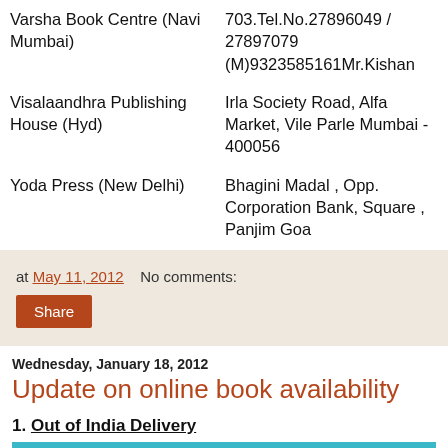|  |  |
| --- | --- |
| Varsha Book Centre (Navi Mumbai) | 703.Tel.No.27896049 / 27897079 (M)9323585161Mr.Kishan |
| Visalaandhra Publishing House (Hyd) | Irla Society Road, Alfa Market, Vile Parle Mumbai - 400056 |
| Yoda Press (New Delhi) | Bhagini Madal , Opp. Corporation Bank, Square , Panjim Goa |
at May 11, 2012   No comments:
Share
Wednesday, January 18, 2012
Update on online book availability
1. Out of India Delivery
| Site | Direct Link | Publisher Comments on delivery |
| --- | --- | --- |
| EBAY | http://e.e.ebay.com/itm/Three-Black-Trunks... | "Ple... |